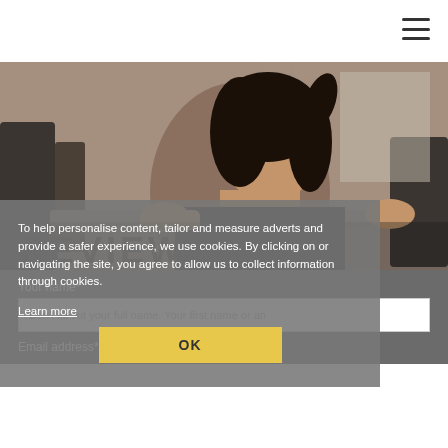[Figure (screenshot): Hamburger/menu icon (three horizontal lines) in top-right corner of webpage]
[Figure (photo): Woman in a gym holding a barbell across her shoulders, dark hair, wearing black top, gym equipment in background]
REVIEW
To help personalise content, tailor and measure adverts and provide a safer experience, we use cookies. By clicking on or navigating the site, you agree to allow us to collect information through cookies.
Learn more
OK
Your name*
Don't fill out your full name. Your first name or an
Email address*